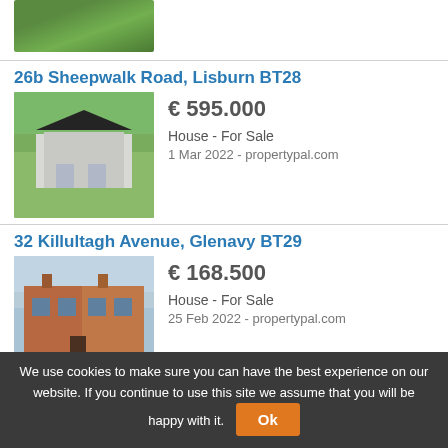[Figure (photo): Partial aerial/landscape photo of a property with green grass, cropped at top of page]
26b Sheepwalk Road, Lisburn BT28
[Figure (photo): Aerial photo of a white house with dark roof surrounded by green fields]
€ 595.000
House - For Sale
1 Mar 2022 - propertypal.com
32 Killultagh Avenue, Glenavy BT29
[Figure (photo): Photo of a brick semi-detached house with chimneys]
€ 168.500
House - For Sale
25 Feb 2022 - propertypal.com
We use cookies to make sure you can have the best experience on our website. If you continue to use this site we assume that you will be happy with it.